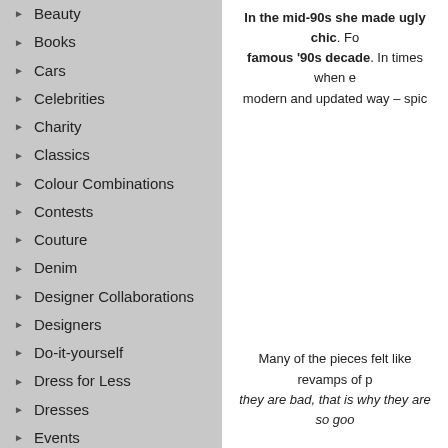Beauty
Books
Cars
Celebrities
Charity
Classics
Colour Combinations
Contests
Couture
Denim
Designer Collaborations
Designers
Do-it-yourself
Dress for Less
Dresses
Events
Exhibitions
Fall/Winter 2010
Fall/Winter 2011
Fall/Winter 2012
Fall/Winter 2013
Fall/Winter 2014
In the mid-90s she made ugly chic. For famous '90s decade. In times when e modern and updated way – spic
Many of the pieces felt like revamps of p they are bad, that is why they are so goo